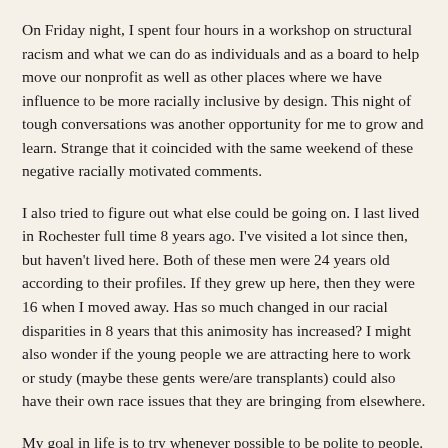On Friday night, I spent four hours in a workshop on structural racism and what we can do as individuals and as a board to help move our nonprofit as well as other places where we have influence to be more racially inclusive by design.  This night of tough conversations was another opportunity for me to grow and learn.  Strange that it coincided with the same weekend of these negative racially motivated comments.
I also tried to figure out what else could be going on.  I last lived in Rochester full time 8 years ago.  I've visited a lot since then, but haven't lived here.  Both of these men were 24 years old according to their profiles.  If they grew up here, then they were 16 when I moved away.  Has so much changed in our racial disparities in 8 years that this animosity has increased?  I might also wonder if the young people we are attracting here to work or study (maybe these gents were/are transplants) could also have their own race issues that they are bringing from elsewhere.
My goal in life is to try whenever possible to be polite to people.  Sure, on Grindr I get messages that are sometimes a bit crass or vulgar.  Sometimes I see people and may make small judgements in my mind about them.  I refuse to attack them with no...